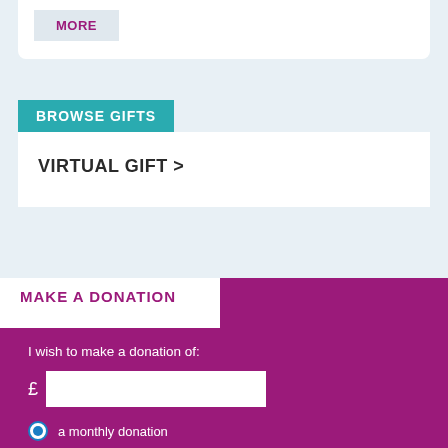MORE
BROWSE GIFTS
VIRTUAL GIFT >
MAKE A DONATION
I wish to make a donation of:
a monthly donation
a one-off donation
DONATE